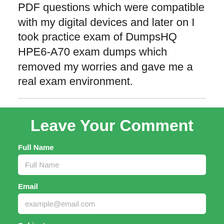PDF questions which were compatible with my digital devices and later on I took practice exam of DumpsHQ HPE6-A70 exam dumps which removed my worries and gave me a real exam environment.
Leave Your Comment
Full Name
Email
Subject
Message